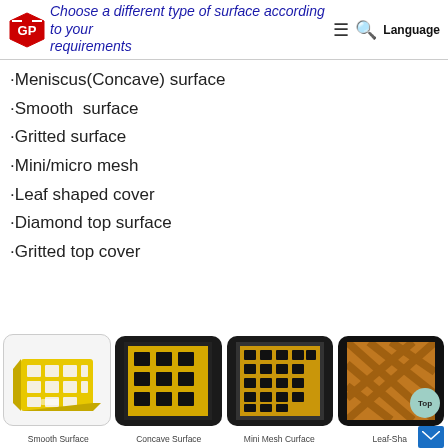Choose a different type of surface according to your requirements
·Meniscus(Concave) surface
·Smooth  surface
·Gritted surface
·Mini/micro mesh
·Leaf shaped cover
·Diamond top surface
·Gritted top cover
[Figure (photo): Four product photos showing different FRP grating surface types: Smooth Surface (yellow grating block), Concave Surface (yellow grid grating close-up), Mini Mesh Curface (yellow grid grating), Leaf-Shaped (orange diamond plate surface with Top badge)]
Smooth Surface   Concave Surface   Mini Mesh Curface   Leaf-Sha...